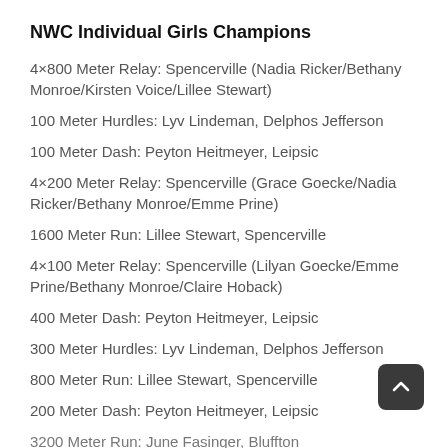NWC Individual Girls Champions
4×800 Meter Relay: Spencerville (Nadia Ricker/Bethany Monroe/Kirsten Voice/Lillee Stewart)
100 Meter Hurdles: Lyv Lindeman, Delphos Jefferson
100 Meter Dash: Peyton Heitmeyer, Leipsic
4×200 Meter Relay: Spencerville (Grace Goecke/Nadia Ricker/Bethany Monroe/Emme Prine)
1600 Meter Run: Lillee Stewart, Spencerville
4×100 Meter Relay: Spencerville (Lilyan Goecke/Emme Prine/Bethany Monroe/Claire Hoback)
400 Meter Dash: Peyton Heitmeyer, Leipsic
300 Meter Hurdles: Lyv Lindeman, Delphos Jefferson
800 Meter Run: Lillee Stewart, Spencerville
200 Meter Dash: Peyton Heitmeyer, Leipsic
3200 Meter Run: June Fasinger, Bluffton